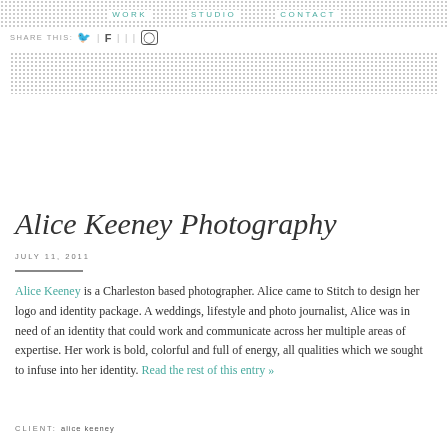WORK   STUDIO   CONTACT
SHARE THIS: [twitter] | [facebook] | | [instagram]
[Figure (other): Decorative dotted/stipple banner strip]
Alice Keeney Photography
JULY 11, 2011
Alice Keeney is a Charleston based photographer. Alice came to Stitch to design her logo and identity package. A weddings, lifestyle and photo journalist, Alice was in need of an identity that could work and communicate across her multiple areas of expertise. Her work is bold, colorful and full of energy, all qualities which we sought to infuse into her identity. Read the rest of this entry »
CLIENT: alice keeney